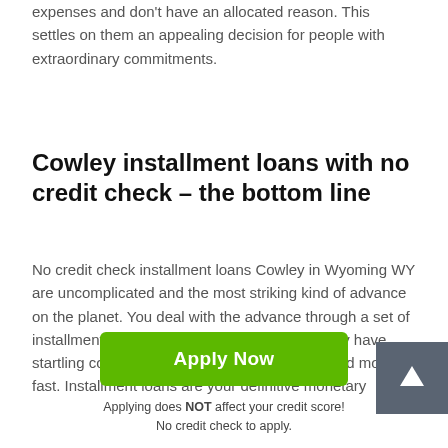expenses and don't have an allocated reason. This settles on them an appealing decision for people with extraordinary commitments.
Cowley installment loans with no credit check – the bottom line
No credit check installment loans Cowley in Wyoming WY are uncomplicated and the most striking kind of advance on the planet. You deal with the advance through a set of installments over some stretch of time. You may have startling costs or emergency expenses and need money fast. Installment loans are your definitive monetary
Apply Now
Applying does NOT affect your credit score!
No credit check to apply.